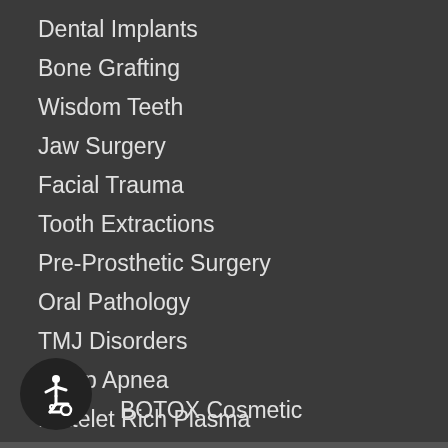Dental Implants
Bone Grafting
Wisdom Teeth
Jaw Surgery
Facial Trauma
Tooth Extractions
Pre-Prosthetic Surgery
Oral Pathology
TMJ Disorders
Sleep Apnea
Platelet Rich Plasma
Impacted Canines
BOTOX Cosmetic
[Figure (illustration): Wheelchair accessibility icon — white stylized person in wheelchair on dark circular background]